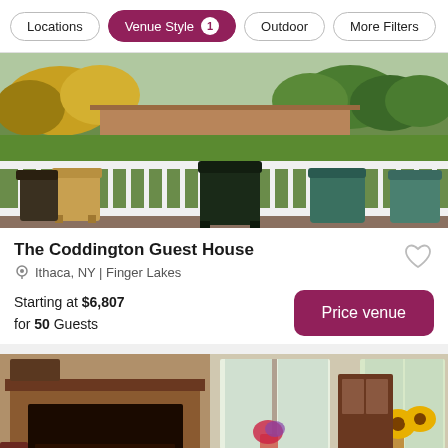Locations | Venue Style 1 | Outdoor | More Filters
[Figure (photo): Outdoor deck with wicker and Adirondack chairs overlooking a green lawn and trees in autumn foliage]
The Coddington Guest House
Ithaca, NY | Finger Lakes
Starting at $6,807
for 50 Guests
[Figure (photo): Interior of a cozy guest house living room with a fireplace, upholstered furniture, and sunflowers by the window]